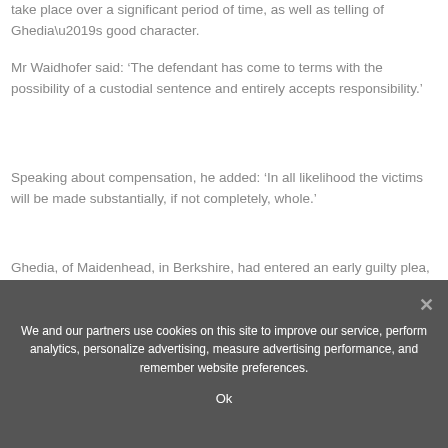take place over a significant period of time, as well as telling of Ghedia’s good character.
Mr Waidhofer said: ‘The defendant has come to terms with the possibility of a custodial sentence and entirely accepts responsibility.’
Speaking about compensation, he added: ‘In all likelihood the victims will be made substantially, if not completely, whole.’
Ghedia, of Maidenhead, in Berkshire, had entered an early guilty plea, the court heard.
Source: Read Full Article
We and our partners use cookies on this site to improve our service, perform analytics, personalize advertising, measure advertising performance, and remember website preferences.
Ok